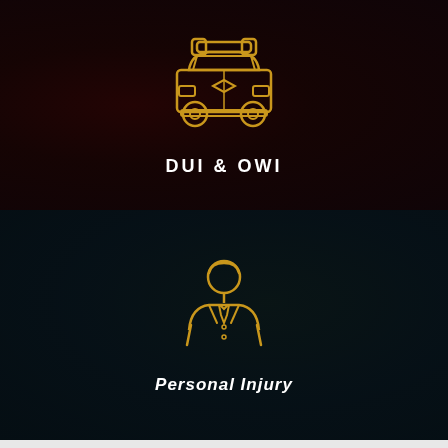[Figure (illustration): Dark background with police car icon in gold/amber outline, set against a dark scene with flashing lights. Icon shows front view of police car with siren lights on top.]
DUI & OWI
[Figure (illustration): Dark teal/dark background with a gold/amber outline icon of a person (lawyer/professional figure) in a suit with tie, upper body shown.]
Personal Injury